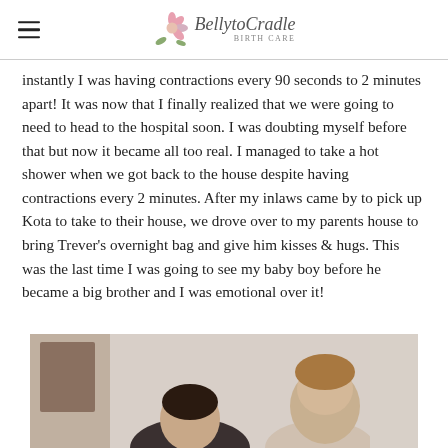Belly to Cradle Birth Care
instantly I was having contractions every 90 seconds to 2 minutes apart! It was now that I finally realized that we were going to need to head to the hospital soon. I was doubting myself before that but now it became all too real. I managed to take a hot shower when we got back to the house despite having contractions every 2 minutes. After my inlaws came by to pick up Kota to take to their house, we drove over to my parents house to bring Trever's overnight bag and give him kisses & hugs. This was the last time I was going to see my baby boy before he became a big brother and I was emotional over it!
[Figure (photo): A photograph showing people, partially visible at the bottom of the page. Appears to show a woman and a child or young person.]